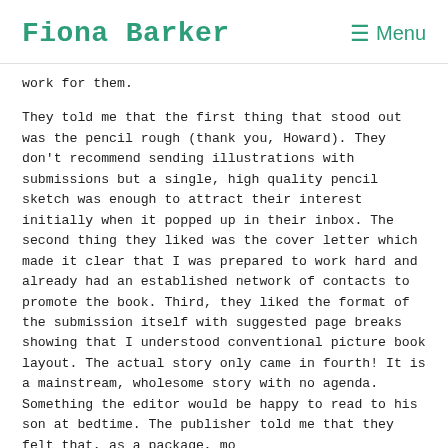Fiona Barker  ☰ Menu
work for them.
They told me that the first thing that stood out was the pencil rough (thank you, Howard). They don't recommend sending illustrations with submissions but a single, high quality pencil sketch was enough to attract their interest initially when it popped up in their inbox. The second thing they liked was the cover letter which made it clear that I was prepared to work hard and already had an established network of contacts to promote the book. Third, they liked the format of the submission itself with suggested page breaks showing that I understood conventional picture book layout. The actual story only came in fourth! It is a mainstream, wholesome story with no agenda. Something the editor would be happy to read to his son at bedtime. The publisher told me that they felt that, as a package, mo